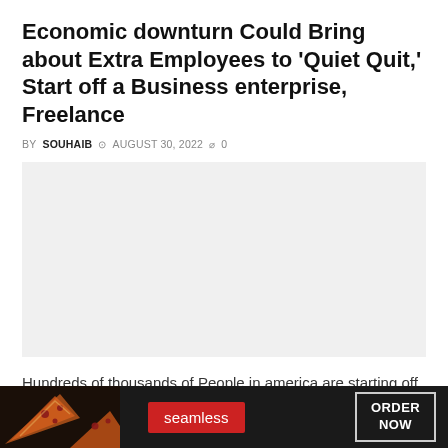Economic downturn Could Bring about Extra Employees to 'Quiet Quit,' Start off a Business enterprise, Freelance
BY SOUHAIB  ⊙ AUGUST 30, 2022  ⌀ 0
[Figure (photo): Large placeholder image area (light gray background, advertisement or article image)]
Hundreds of thousands of People in america are starting off enterprises, freelancing, or functioning much less. In spite of the worries, quite a few are inspired to seek...
[Figure (photo): Seamless food delivery advertisement banner at bottom showing pizza images, Seamless logo in red, and ORDER NOW button]